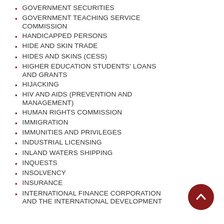GOVERNMENT SECURITIES
GOVERNMENT TEACHING SERVICE COMMISSION
HANDICAPPED PERSONS
HIDE AND SKIN TRADE
HIDES AND SKINS (CESS)
HIGHER EDUCATION STUDENTS' LOANS AND GRANTS
HIJACKING
HIV AND AIDS (PREVENTION AND MANAGEMENT)
HUMAN RIGHTS COMMISSION
IMMIGRATION
IMMUNITIES AND PRIVILEGES
INDUSTRIAL LICENSING
INLAND WATERS SHIPPING
INQUESTS
INSOLVENCY
INSURANCE
INTERNATIONAL FINANCE CORPORATION AND THE INTERNATIONAL DEVELOPMENT